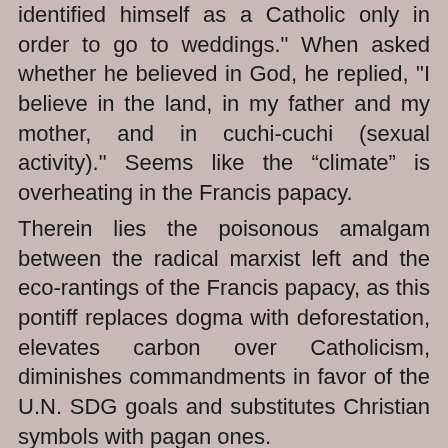identified himself as a Catholic only in order to go to weddings." When asked whether he believed in God, he replied, "I believe in the land, in my father and my mother, and in cuchi-cuchi (sexual activity)." Seems like the “climate” is overheating in the Francis papacy.
Therein lies the poisonous amalgam between the radical marxist left and the eco-rantings of the Francis papacy, as this pontiff replaces dogma with deforestation, elevates carbon over Catholicism, diminishes commandments in favor of the U.N. SDG goals and substitutes Christian symbols with pagan ones.
Time to get down on your knees and beg the sustainable development gods and Pachamama for mercy from environmental catastrophes. For your penance in reparation for eco-sins, you must plant a tree.
For your penance in reparation for eco-sins, you must plant a tree. Tweet